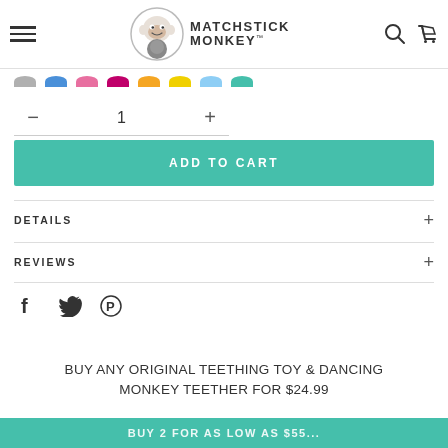Matchstick Monkey — site header with hamburger menu, logo, search and cart icons
[Figure (illustration): Color swatches row: grey, blue, pink, dark pink/magenta, orange, yellow, light blue, teal]
- 1 +
ADD TO CART
DETAILS +
REVIEWS +
[Figure (illustration): Social share icons: Facebook (f), Twitter (bird), Pinterest (P)]
BUY ANY ORIGINAL TEETHING TOY & DANCING MONKEY TEETHER FOR $24.99
BUY 2 FOR As Low As $55...